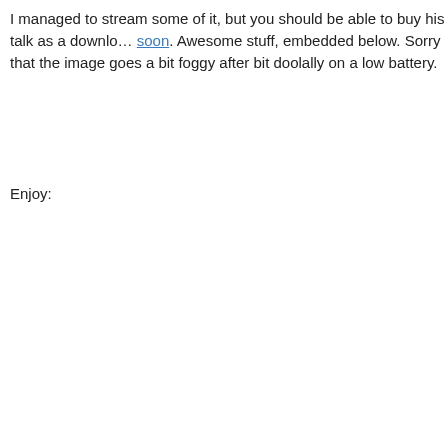I managed to stream some of it, but you should be able to buy his talk as a download soon. Awesome stuff, embedded below. Sorry that the image goes a bit foggy after bit doolally on a low battery.
Enjoy: